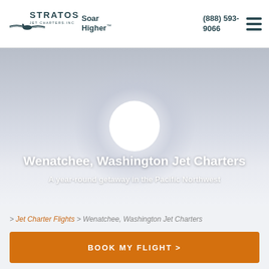Stratos Jet Charters, Inc. — Soar Higher™ — (888) 593-9066
[Figure (logo): Stratos Jet Charters Inc. logo with airplane silhouette]
Wenatchee, Washington Jet Charters
A year-round getaway in the Pacific Northwest
> Jet Charter Flights > Wenatchee, Washington Jet Charters
BOOK MY FLIGHT >
Plan Your Trip to Wenatchee